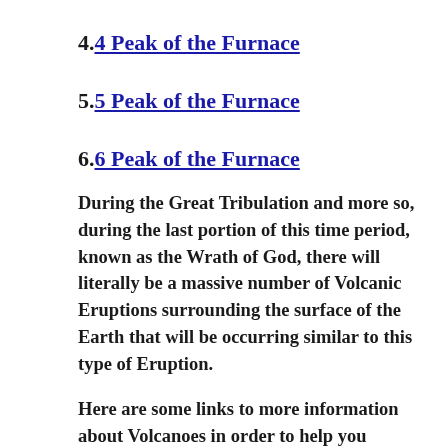4.4 Peak of the Furnace
5.5 Peak of the Furnace
6.6 Peak of the Furnace
During the Great Tribulation and more so, during the last portion of this time period, known as the Wrath of God, there will literally be a massive number of Volcanic Eruptions surrounding the surface of the Earth that will be occurring similar to this type of Eruption.
Here are some links to more information about Volcanoes in order to help you